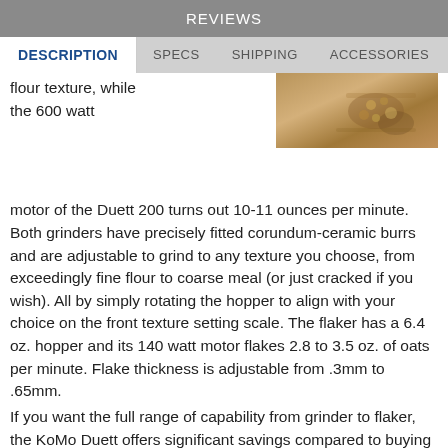REVIEWS
DESCRIPTION | SPECS | SHIPPING | ACCESSORIES
[Figure (photo): Photo of grains or oats on a wooden surface/board]
flour texture, while the 600 watt motor of the Duett 200 turns out 10-11 ounces per minute. Both grinders have precisely fitted corundum-ceramic burrs and are adjustable to grind to any texture you choose, from exceedingly fine flour to coarse meal (or just cracked if you wish). All by simply rotating the hopper to align with your choice on the front texture setting scale. The flaker has a 6.4 oz. hopper and its 140 watt motor flakes 2.8 to 3.5 oz. of oats per minute. Flake thickness is adjustable from .3mm to .65mm.
If you want the full range of capability from grinder to flaker, the KoMo Duett offers significant savings compared to buying a mill and a flaker separately. The grinder side will grind hard or soft wheat, oat groats (dehulled oats), rice, triticale, kamut, spelt, buckwheat, barley, rye, millet, teff, quinoa, amaranth, sorghum and dent (field) corn. It will also grind lentils, dry beans (pinto, red, garbanzo/chickpeas, kidney & more), and dried, non-oily